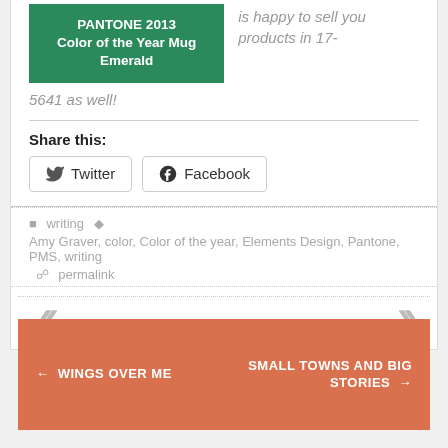[Figure (other): Green button/banner with text: PANTONE 2013 Color of the Year Mug Emerald]
is happy to sell you products in 17-5641 as well!
Share this:
Twitter  Facebook
writing  Amy Graver, color, Color of the year, Elements Design, Pantone, PMS, writing  permalink
← WINGS OVER ME
SMALL TOWNS AND BIG STORIES →